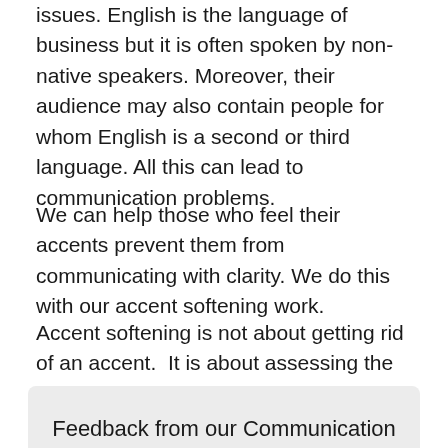issues. English is the language of business but it is often spoken by non-native speakers. Moreover, their audience may also contain people for whom English is a second or third language. All this can lead to communication problems.
We can help those who feel their accents prevent them from communicating with clarity. We do this with our accent softening work.
Accent softening is not about getting rid of an accent. It is about assessing the key features of the accent that is impeding communication, and giving the speaker exercises to overcome that problem.
Feedback from our Communication